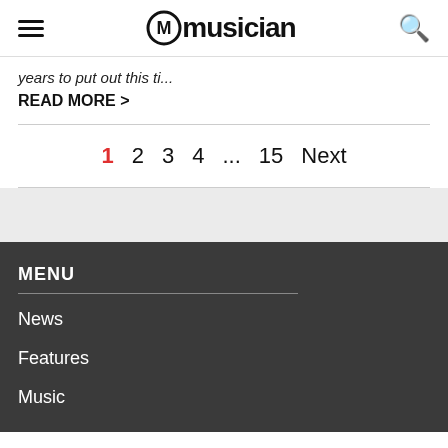MusicianHQ - musician
years to put out this ti...
READ MORE >
1  2  3  4  ...  15  Next
MENU
News
Features
Music